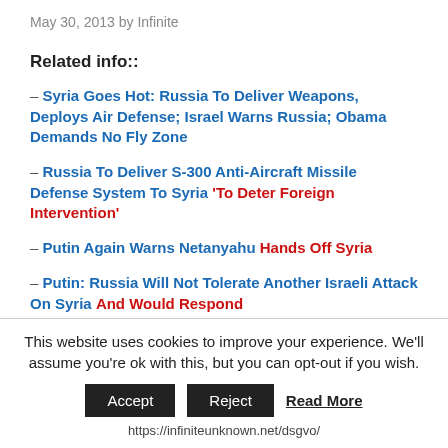May 30, 2013 by Infinite
Related info::
– Syria Goes Hot: Russia To Deliver Weapons, Deploys Air Defense; Israel Warns Russia; Obama Demands No Fly Zone
– Russia To Deliver S-300 Anti-Aircraft Missile Defense System To Syria 'To Deter Foreign Intervention'
– Putin Again Warns Netanyahu Hands Off Syria
– Putin: Russia Will Not Tolerate Another Israeli Attack On Syria And Would Respond
Flashback:
This website uses cookies to improve your experience. We'll assume you're ok with this, but you can opt-out if you wish.
Accept   Reject   Read More
https://infiniteunknown.net/dsgvo/